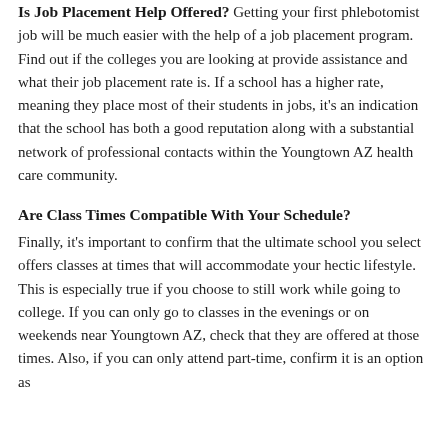Is Job Placement Help Offered? Getting your first phlebotomist job will be much easier with the help of a job placement program. Find out if the colleges you are looking at provide assistance and what their job placement rate is. If a school has a higher rate, meaning they place most of their students in jobs, it's an indication that the school has both a good reputation along with a substantial network of professional contacts within the Youngtown AZ health care community.
Are Class Times Compatible With Your Schedule?
Finally, it's important to confirm that the ultimate school you select offers classes at times that will accommodate your hectic lifestyle. This is especially true if you choose to still work while going to college. If you can only go to classes in the evenings or on weekends near Youngtown AZ, check that they are offered at those times. Also, if you can only attend part-time, confirm it is an option as